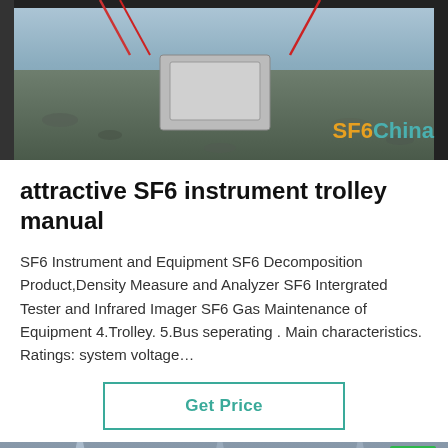[Figure (photo): Outdoor electrical equipment on gravel, with SF6China logo watermark in orange and teal]
attractive SF6 instrument trolley manual
SF6 Instrument and Equipment SF6 Decomposition Product,Density Measure and Analyzer SF6 Intergrated Tester and Infrared Imager SF6 Gas Maintenance of Equipment 4.Trolley. 5.Bus seperating . Main characteristics. Ratings: system voltage…
Get Price
[Figure (photo): Electrical transmission towers and substation equipment photo]
Leave Message  Chat Online